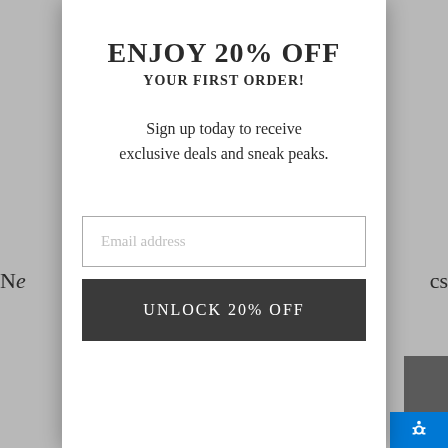ENJOY 20% OFF YOUR FIRST ORDER!
Sign up today to receive exclusive deals and sneak peaks.
Email address
UNLOCK 20% OFF